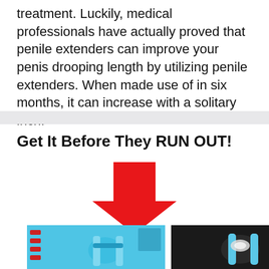treatment. Luckily, medical professionals have actually proved that penile extenders can improve your penis drooping length by utilizing penile extenders. When made use of in six months, it can increase with a solitary inch.
Get It Before They RUN OUT!
[Figure (illustration): A large red downward-pointing arrow above two product images of a penile extender device — left image on a light blue background, right image on a dark/black background.]